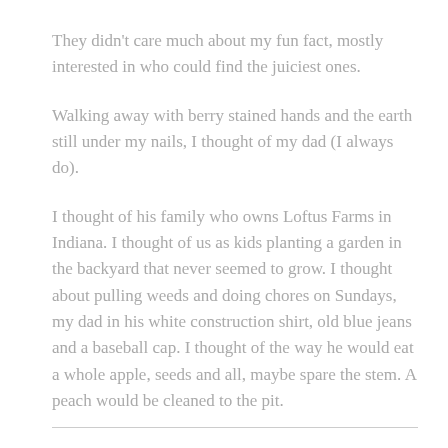They didn't care much about my fun fact, mostly interested in who could find the juiciest ones.
Walking away with berry stained hands and the earth still under my nails, I thought of my dad (I always do).
I thought of his family who owns Loftus Farms in Indiana. I thought of us as kids planting a garden in the backyard that never seemed to grow. I thought about pulling weeds and doing chores on Sundays, my dad in his white construction shirt, old blue jeans and a baseball cap. I thought of the way he would eat a whole apple, seeds and all, maybe spare the stem. A peach would be cleaned to the pit.